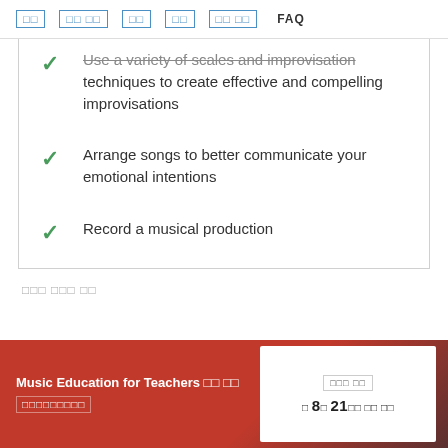□□  □□ □□  □□  □□  □□ □□  FAQ
Use a variety of scales and improvisation techniques to create effective and compelling improvisations
Arrange songs to better communicate your emotional intentions
Record a musical production
□□□ □□□ □□
Music Education for Teachers □□ □□ □□□□□□□□□
□□□ □□
□ 8□ 21□□ □□ □□